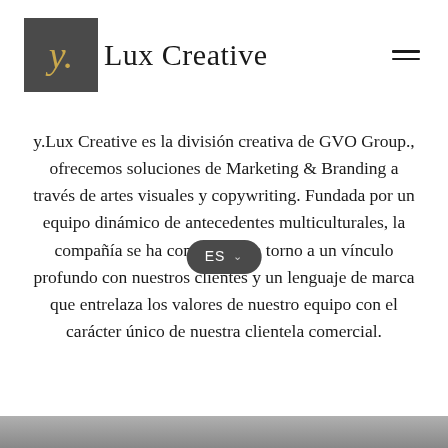y.Lux Creative
y.Lux Creative es la división creativa de GVO Group., ofrecemos soluciones de Marketing & Branding a través de artes visuales y copywriting. Fundada por un equipo dinámico de antecedentes multiculturales, la compañía se ha construido en torno a un vínculo profundo con nuestros clientes y un lenguaje de marca que entrelaza los valores de nuestro equipo con el carácter único de nuestra clientela comercial.